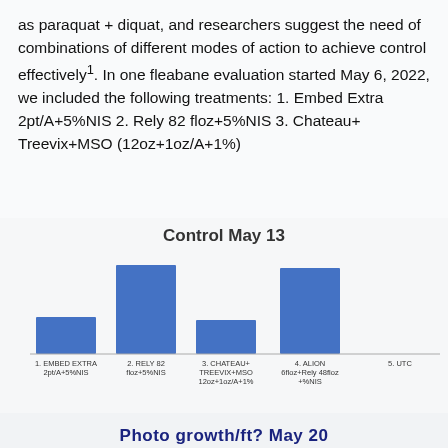as paraquat + diquat, and researchers suggest the need of combinations of different modes of action to achieve control effectively¹. In one fleabane evaluation started May 6, 2022, we included the following treatments: 1. Embed Extra 2pt/A+5%NIS 2. Rely 82 floz+5%NIS 3. Chateau+ Treevix+MSO (12oz+1oz/A+1%)
[Figure (bar-chart): Control May 13]
Photo growth/ft? May 20